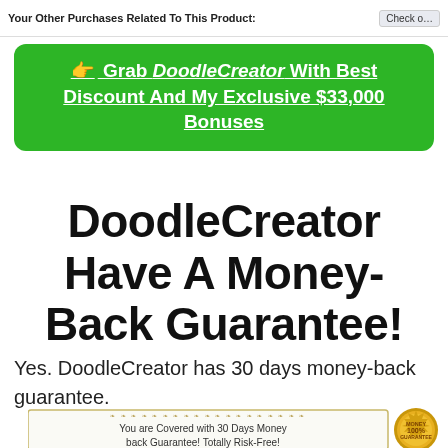Your Other Purchases Related To This Product:
👉 Grab DoodleCreator With Best Discount And My Exclusive $33,000 Bonuses
DoodleCreator Have A Money-Back Guarantee!
Yes. DoodleCreator has 30 days money-back guarantee.
[Figure (illustration): Money-back guarantee certificate badge showing '100% Money Back Guarantee' seal with text: You are Covered with 30 Days Money back Guarantee! Totally Risk-Free!]